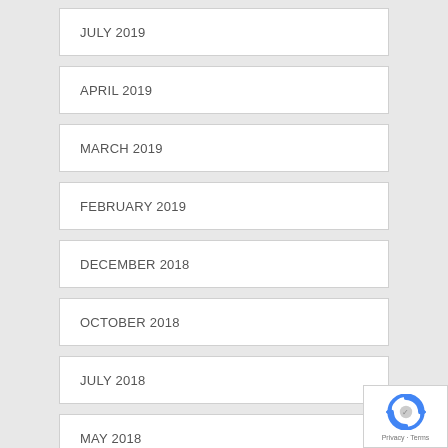JULY 2019
APRIL 2019
MARCH 2019
FEBRUARY 2019
DECEMBER 2018
OCTOBER 2018
JULY 2018
MAY 2018
MARCH 2018